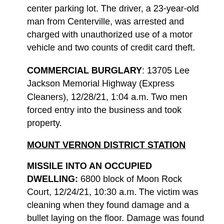center parking lot. The driver, a 23-year-old man from Centerville, was arrested and charged with unauthorized use of a motor vehicle and two counts of credit card theft.
COMMERCIAL BURGLARY: 13705 Lee Jackson Memorial Highway (Express Cleaners), 12/28/21, 1:04 a.m. Two men forced entry into the business and took property.
MOUNT VERNON DISTRICT STATION
MISSILE INTO AN OCCUPIED DWELLING: 6800 block of Moon Rock Court, 12/24/21, 10:30 a.m. The victim was cleaning when they found damage and a bullet laying on the floor. Damage was found on the exterior of the home. The bullet appears to have traveled through the exterior of the home